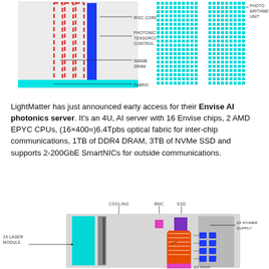[Figure (schematic): Top diagram showing chip architecture with labeled components: RISC CORES, PHOTONIC TENSORCORE CONTROL, 500MB SRAM, FABRIC on the left side with dashed red and blue vertical bars, and a grid of cyan squares on the right labeled PHOTO ARITHMETIC UNIT.]
LightMatter has just announced early access for their Envise AI photonics server. It's an 4U, AI server with 16 Envise chips, 2 AMD EPYC CPUs, (16×400=)6.4Tpbs optical fabric for inter-chip communications, 1TB of DDR4 DRAM, 3TB of NVMe SSD and supports 2-200GbE SmartNICs for outside communications.
[Figure (schematic): Bottom diagram of Envise AI photonics server showing labeled components: COOLING, BMC, SSD at top; 2X LASER MODULE on the left; 2X POWER SUPPLY on the right; with cyan, gray, pink, purple, orange, blue blocks representing server internals.]